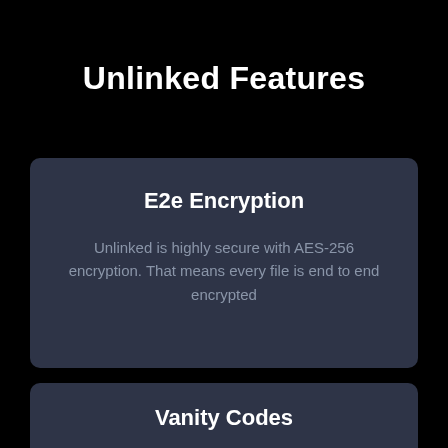Unlinked Features
E2e Encryption
Unlinked is highly secure with AES-256 encryption. That means every file is end to end encrypted
Vanity Codes